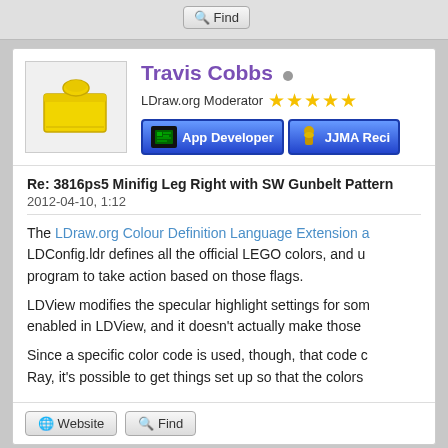[Figure (screenshot): Forum page screenshot showing a Find button at the top, then a user profile card for Travis Cobbs (LDraw.org Moderator with 5 stars, App Developer and JJMA Reci badges), followed by a post titled 'Re: 3816ps5 Minifig Leg Right with SW Gunbelt Pattern' dated 2012-04-10, 1:12 with forum text about LDraw.org Colour Definition Language Extension, LDConfig.ldr, LDView specular highlight settings, and color codes for Ray tracing. Bottom has Website and Find buttons.]